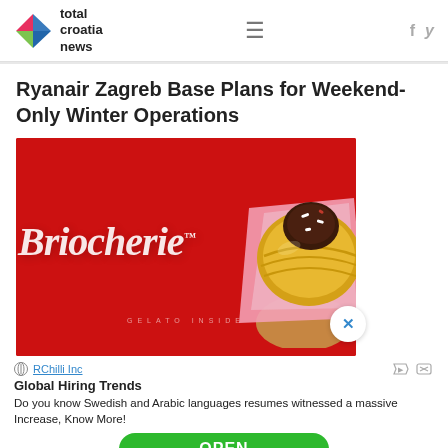total croatia news
Ryanair Zagreb Base Plans for Weekend-Only Winter Operations
[Figure (photo): Advertisement image with red background showing Briocherie brand logo in white italic script with 'GELATO INSIDE' tagline, and a pastry/brioche item held in hand on the right side. A close/X button appears in bottom right.]
RChilli Inc
Global Hiring Trends
Do you know Swedish and Arabic languages resumes witnessed a massive Increase, Know More!
OPEN